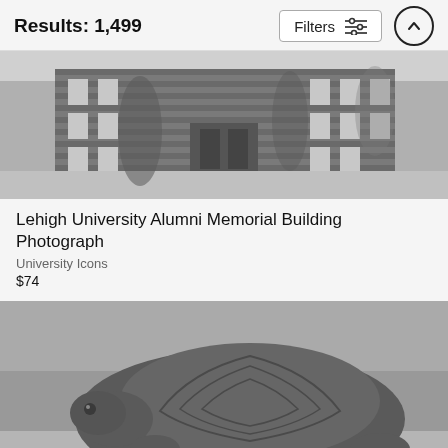Results: 1,499
[Figure (screenshot): Filters button with sliders icon and up-arrow circle button]
[Figure (photo): Black and white photograph of Lehigh University Alumni Memorial Building, a brick building with ivy-covered walls and a courtyard]
Lehigh University Alumni Memorial Building Photograph
University Icons
$74
[Figure (photo): Black and white photograph of a bronze or stone tortoise sculpture on a stone platform, viewed from the front-left side]